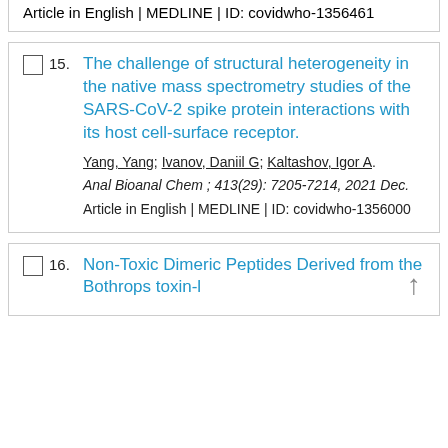Article in English | MEDLINE | ID: covidwho-1356461
15. The challenge of structural heterogeneity in the native mass spectrometry studies of the SARS-CoV-2 spike protein interactions with its host cell-surface receptor. Yang, Yang; Ivanov, Daniil G; Kaltashov, Igor A. Anal Bioanal Chem ; 413(29): 7205-7214, 2021 Dec. Article in English | MEDLINE | ID: covidwho-1356000
16. Non-Toxic Dimeric Peptides Derived from the Bothrops toxin...